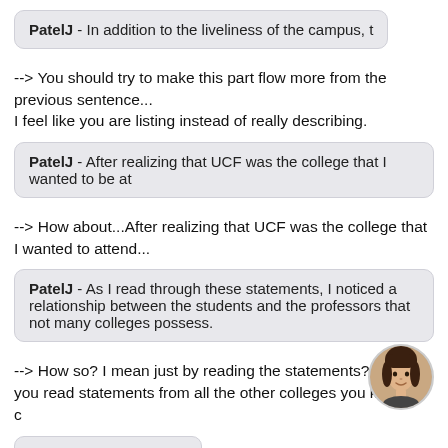PatelJ - In addition to the liveliness of the campus, t
--> You should try to make this part flow more from the previous sentence...
I feel like you are listing instead of really describing.
PatelJ - After realizing that UCF was the college that I wanted to be at
--> How about...After realizing that UCF was the college that I wanted to attend...
PatelJ - As I read through these statements, I noticed a relationship between the students and the professors that not many colleges possess.
--> How so? I mean just by reading the statements? So have you read statements from all the other colleges you know or c
PatelJ - my the college.